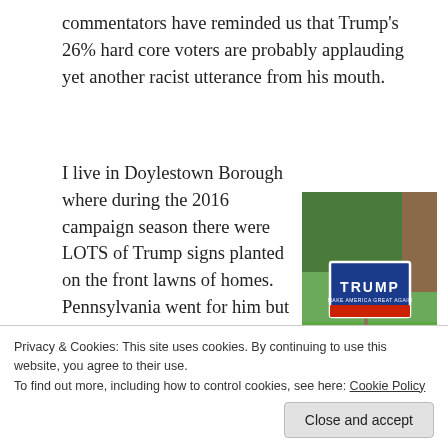commentators have reminded us that Trump's 26% hard core voters are probably applauding yet another racist utterance from his mouth.
I live in Doylestown Borough where during the 2016 campaign season there were LOTS of Trump signs planted on the front lawns of homes. Pennsylvania went for him but the Borough went for Clinton. I wonder how many of those Trump voters in my community still support him, even as
[Figure (photo): A blue Trump campaign yard sign reading 'TRUMP MAKE AMERICA GREAT AGAIN' planted in a green lawn with trees/house in background]
Privacy & Cookies: This site uses cookies. By continuing to use this website, you agree to their use.
To find out more, including how to control cookies, see here: Cookie Policy
Close and accept